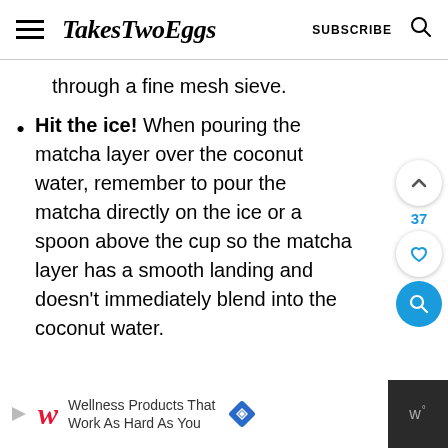TakesTwoEggs | SUBSCRIBE
through a fine mesh sieve.
Hit the ice! When pouring the matcha layer over the coconut water, remember to pour the matcha directly on the ice or a spoon above the cup so the matcha layer has a smooth landing and doesn't immediately blend into the coconut water.
[Figure (screenshot): Ad banner for Walgreens: Wellness Products That Work As Hard As You]
Wellness Products That Work As Hard As You